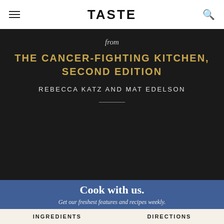TASTE
from
THE CANCER-FIGHTING KITCHEN, SECOND EDITION
REBECCA KATZ AND MAT EDELSON
Cook with us.
Get our freshest features and recipes weekly.
INGREDIENTS
DIRECTIONS